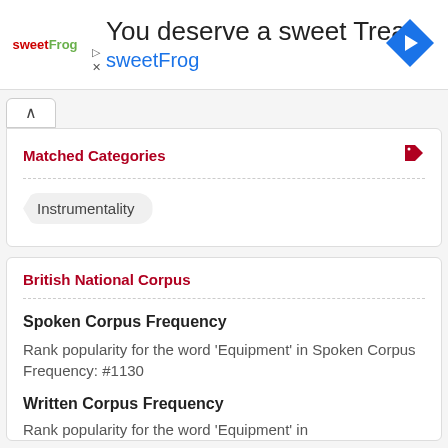[Figure (illustration): sweetFrog advertisement banner with logo, headline 'You deserve a sweet Treat', brand name 'sweetFrog', and a blue diamond-shaped navigation arrow icon on the right.]
Matched Categories
Instrumentality
British National Corpus
Spoken Corpus Frequency
Rank popularity for the word 'Equipment' in Spoken Corpus Frequency: #1130
Written Corpus Frequency
Rank popularity for the word 'Equipment' in